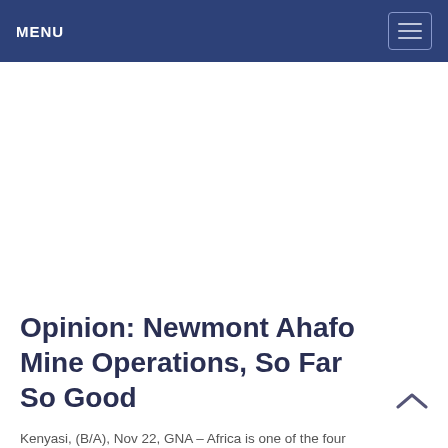MENU
Opinion: Newmont Ahafo Mine Operations, So Far So Good
Kenyasi, (B/A), Nov 22, GNA – Africa is one of the four